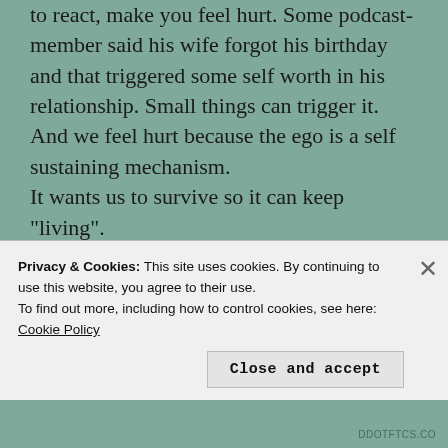to react, make you feel hurt. Some podcast-member said his wife forgot his birthday and that triggered some self worth in his relationship. Small things can trigger it. And we feel hurt because the ego is a self sustaining mechanism. It wants us to survive so it can keep "living".
This guy whose wife forgot his birthday knew it wasn't a real threat and not even intentional but still acted grumpy and I have had similar experiences with mistakes I've done that no one else knew
Privacy & Cookies: This site uses cookies. By continuing to use this website, you agree to their use.
To find out more, including how to control cookies, see here: Cookie Policy
Close and accept